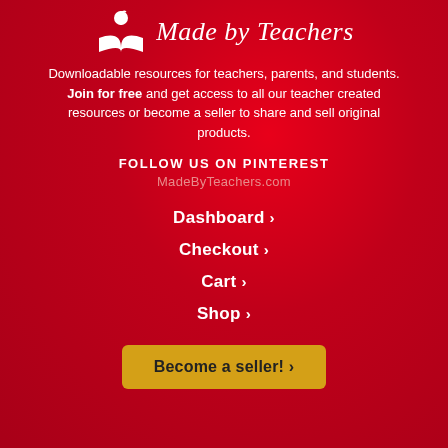[Figure (logo): Made by Teachers logo with white open book/apple icon and italic serif text 'Made by Teachers']
Downloadable resources for teachers, parents, and students. Join for free and get access to all our teacher created resources or become a seller to share and sell original products.
FOLLOW US ON PINTEREST
MadeByTeachers.com
Dashboard ›
Checkout ›
Cart ›
Shop ›
Become a seller! ›